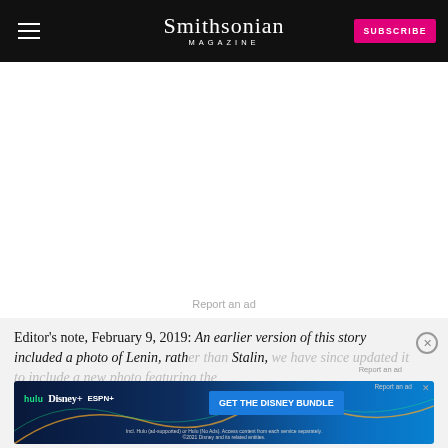Smithsonian MAGAZINE
[Figure (screenshot): Advertisement placeholder area (blank white space with 'Report an ad' link)]
Editor's note, February 9, 2019: An earlier version of this story included a photo of Lenin, rather than Stalin, we have since updated it to include a new photo featuring the
[Figure (screenshot): Disney Bundle advertisement banner showing Hulu, Disney+, and ESPN+ logos with 'GET THE DISNEY BUNDLE' call-to-action button]